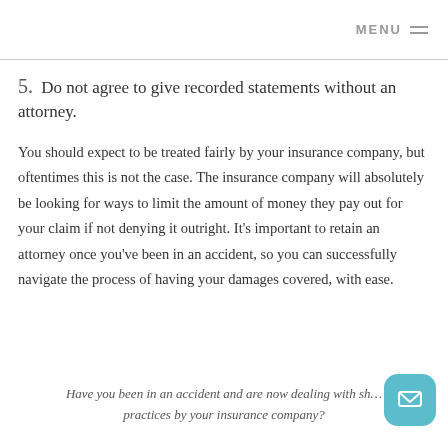MENU
5. Do not agree to give recorded statements without an attorney.
You should expect to be treated fairly by your insurance company, but oftentimes this is not the case. The insurance company will absolutely be looking for ways to limit the amount of money they pay out for your claim if not denying it outright. It’s important to retain an attorney once you’ve been in an accident, so you can successfully navigate the process of having your damages covered, with ease.
Have you been in an accident and are now dealing with shady practices by your insurance company?